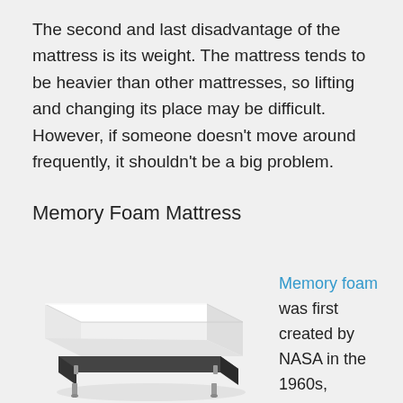The second and last disadvantage of the mattress is its weight. The mattress tends to be heavier than other mattresses, so lifting and changing its place may be difficult. However, if someone doesn't move around frequently, it shouldn't be a big problem.
Memory Foam Mattress
[Figure (photo): A memory foam mattress with white top and dark grey base with metal legs, photographed at an angle on a white/grey background.]
Memory foam was first created by NASA in the 1960s, originally used